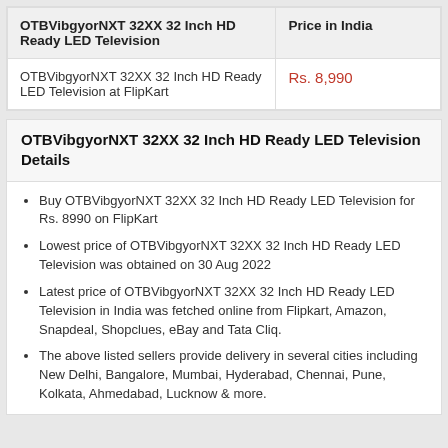| OTBVibgyorNXT 32XX 32 Inch HD Ready LED Television | Price in India |
| --- | --- |
| OTBVibgyorNXT 32XX 32 Inch HD Ready LED Television at FlipKart | Rs. 8,990 |
OTBVibgyorNXT 32XX 32 Inch HD Ready LED Television Details
Buy OTBVibgyorNXT 32XX 32 Inch HD Ready LED Television for Rs. 8990 on FlipKart
Lowest price of OTBVibgyorNXT 32XX 32 Inch HD Ready LED Television was obtained on 30 Aug 2022
Latest price of OTBVibgyorNXT 32XX 32 Inch HD Ready LED Television in India was fetched online from Flipkart, Amazon, Snapdeal, Shopclues, eBay and Tata Cliq.
The above listed sellers provide delivery in several cities including New Delhi, Bangalore, Mumbai, Hyderabad, Chennai, Pune, Kolkata, Ahmedabad, Lucknow & more.